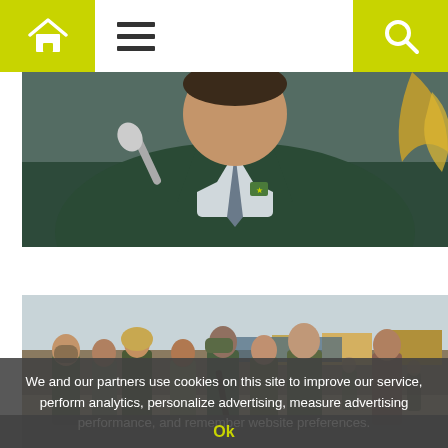Navigation bar with home, menu, and search icons
[Figure (photo): A man in a dark green suit sitting at a desk with a microphone, wearing a lapel pin, gold decorative element visible on the right side]
[Figure (photo): A group of people including men in camouflage military/paramilitary uniforms walking outdoors near a body of water or dry riverbed, with structures visible in the background]
We and our partners use cookies on this site to improve our service, perform analytics, personalize advertising, measure advertising performance, and remember website preferences.
Ok